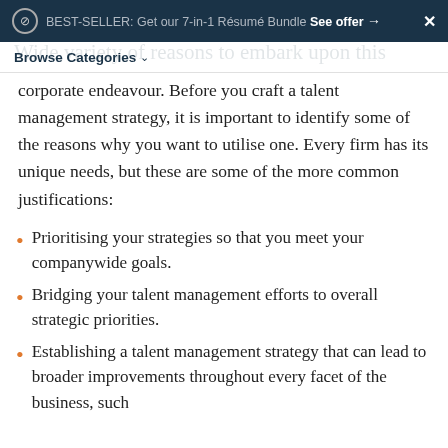BEST-SELLER: Get our 7-in-1 Résumé Bundle See offer →  ✕
Browse Categories
corporate endeavour. Before you craft a talent management strategy, it is important to identify some of the reasons why you want to utilise one. Every firm has its unique needs, but these are some of the more common justifications:
Prioritising your strategies so that you meet your companywide goals.
Bridging your talent management efforts to overall strategic priorities.
Establishing a talent management strategy that can lead to broader improvements throughout every facet of the business, such